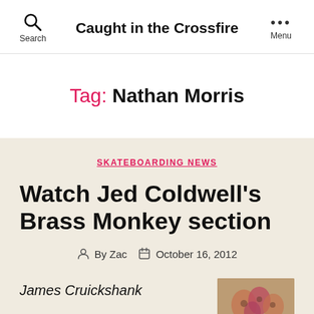Search | Caught in the Crossfire | Menu
Tag: Nathan Morris
SKATEBOARDING NEWS
Watch Jed Coldwell's Brass Monkey section
By Zac   October 16, 2012
James Cruickshank